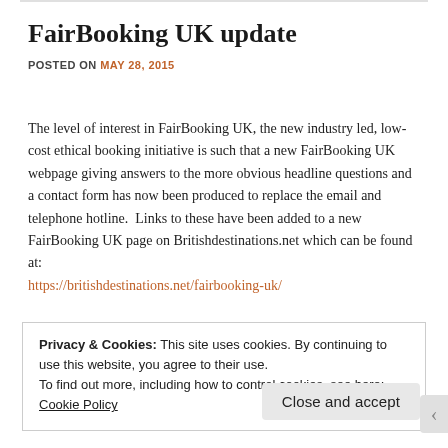FairBooking UK update
POSTED ON MAY 28, 2015
The level of interest in FairBooking UK, the new industry led, low-cost ethical booking initiative is such that a new FairBooking UK webpage giving answers to the more obvious headline questions and a contact form has now been produced to replace the email and telephone hotline.  Links to these have been added to a new FairBooking UK page on Britishdestinations.net which can be found at: https://britishdestinations.net/fairbooking-uk/
Privacy & Cookies: This site uses cookies. By continuing to use this website, you agree to their use.
To find out more, including how to control cookies, see here: Cookie Policy
Close and accept